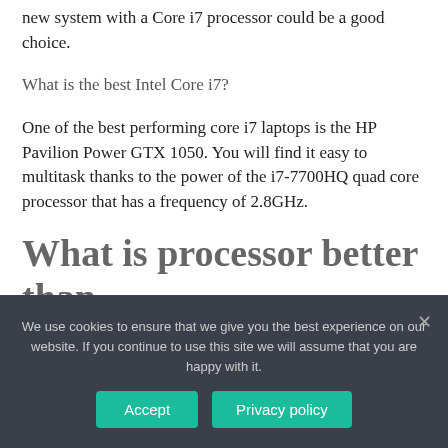new system with a Core i7 processor could be a good choice.
What is the best Intel Core i7?
One of the best performing core i7 laptops is the HP Pavilion Power GTX 1050. You will find it easy to multitask thanks to the power of the i7-7700HQ quad core processor that has a frequency of 2.8GHz.
What is processor better than
We use cookies to ensure that we give you the best experience on our website. If you continue to use this site we will assume that you are happy with it.